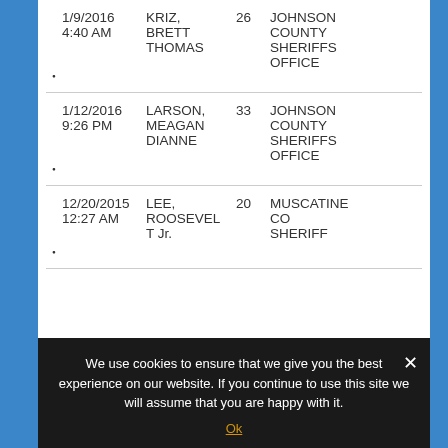| Date/Time | Name | Age | Agency |
| --- | --- | --- | --- |
| 1/9/2016 4:40 AM | KRIZ, BRETT THOMAS | 26 | JOHNSON COUNTY SHERIFFS OFFICE |
| 1/12/2016 9:26 PM | LARSON, MEAGAN DIANNE | 33 | JOHNSON COUNTY SHERIFFS OFFICE |
| 12/20/2015 12:27 AM | LEE, ROOSEVELT Jr. | 20 | MUSCATINE CO SHERIFF |
We use cookies to ensure that we give you the best experience on our website. If you continue to use this site we will assume that you are happy with it.
Ok